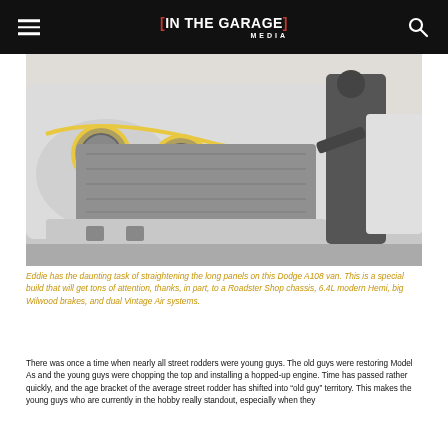[IN THE GARAGE] MEDIA
[Figure (photo): A person working on the front end of a Dodge A108 van in a garage. The van body panels are white with yellow masking tape outlining the headlight areas. The front end shows exposed metal bodywork being straightened.]
Eddie has the daunting task of straightening the long panels on this Dodge A108 van. This is a special build that will get tons of attention, thanks, in part, to a Roadster Shop chassis, 6.4L modern Hemi, big Wilwood brakes, and dual Vintage Air systems.
There was once a time when nearly all street rodders were young guys. The old guys were restoring Model As and the young guys were chopping the top and installing a hopped-up engine. Time has passed rather quickly, and the age bracket of the average street rodder has shifted into “old guy” territory. This makes the young guys who are currently in the hobby really standout, especially when they